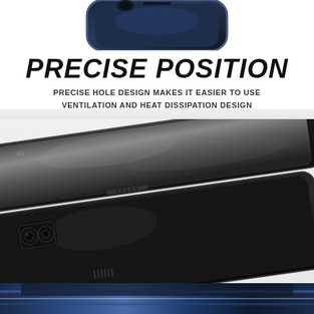[Figure (photo): Top partial view of a dark blue/black Samsung Galaxy smartphone in a clear protective case, seen from above at an angle]
PRECISE POSITION
PRECISE HOLE DESIGN MAKES IT EASIER TO USE VENTILATION AND HEAT DISSIPATION DESIGN
[Figure (photo): Two Samsung Galaxy smartphones with black protective cases shown from the side and back, stacked/overlapping at an angle. The back phone shows dual camera module and speaker grille. Phone connector ports and buttons are visible.]
[Figure (photo): Bottom strip showing partial view of a Samsung Galaxy phone in a blue/black striped protective case]